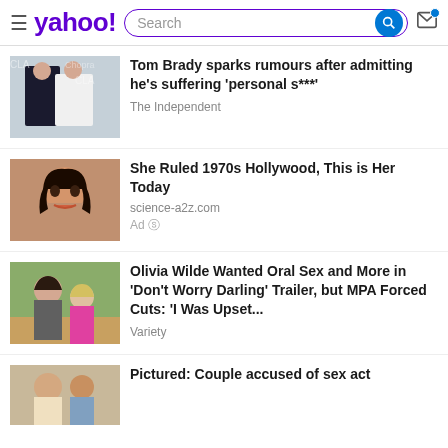yahoo! Search
Tom Brady sparks rumours after admitting he's suffering 'personal s***'
The Independent
She Ruled 1970s Hollywood, This is Her Today
science-a2z.com
Ad
Olivia Wilde Wanted Oral Sex and More in 'Don't Worry Darling' Trailer, but MPA Forced Cuts: 'I Was Upset...
Variety
Pictured: Couple accused of sex act